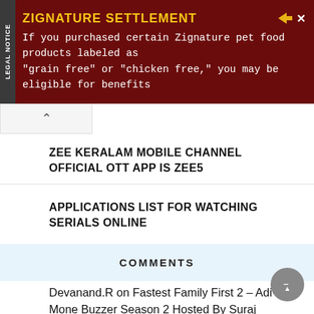[Figure (infographic): Dark red advertisement banner for Zignature Settlement legal notice. Yellow title 'ZIGNATURE SETTLEMENT', white body text about purchasing Zignature pet food products labeled grain free or chicken free being eligible for benefits. Side label reads 'LEGAL NOTICE' vertically.]
ZEE KERALAM MOBILE CHANNEL OFFICIAL OTT APP IS ZEE5
APPLICATIONS LIST FOR WATCHING SERIALS ONLINE
COMMENTS
Devanand.R on Fastest Family First 2 – Adi Mone Buzzer Season 2 Hosted By Suraj Venjaramoodu